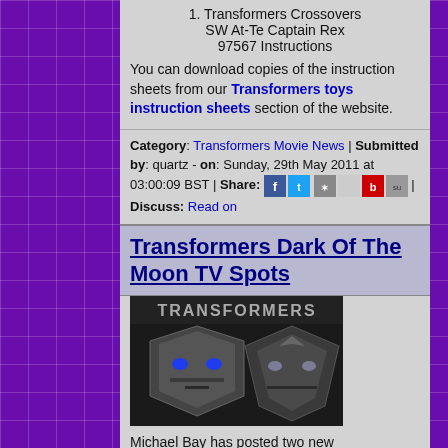1. Transformers Crossovers SW At-Te Captain Rex 97567 Instructions
You can download copies of the instruction sheets from our Transformers toys instruction sheets section of the website.
Category: Transformers Movie News | Submitted by: quartz - on: Sunday, 29th May 2011 at 03:00:09 BST | Share: [icons] | Discuss: Read on
Transformers Dark Of The Moon TV Spots
[Figure (photo): Transformers movie logo with Autobot and Decepticon face icons side by side on dark background]
Michael Bay has posted two new Transformers: Dark of the Moon TV Spots over on YouTube.◆ The spots are titled "Everything" and "Secret" and can be viewed below.